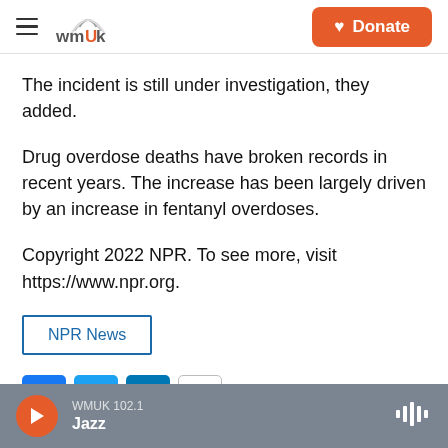WMUK | Donate
The incident is still under investigation, they added.
Drug overdose deaths have broken records in recent years. The increase has been largely driven by an increase in fentanyl overdoses.
Copyright 2022 NPR. To see more, visit https://www.npr.org.
NPR News
[Figure (other): Social sharing buttons: Facebook, Twitter, LinkedIn, Email]
WMUK 102.1 Jazz